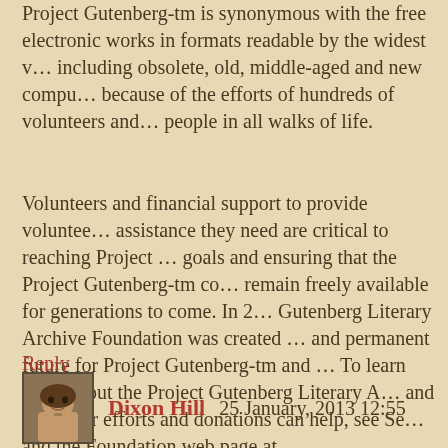Project Gutenberg-tm is synonymous with the free electronic works in formats readable by the widest variety, including obsolete, old, middle-aged and new computers, because of the efforts of hundreds of volunteers and people in all walks of life.
Volunteers and financial support to provide volunteer assistance they need are critical to reaching Project Gutenberg-tm goals and ensuring that the Project Gutenberg-tm collection remain freely available for generations to come. In 2001, the Gutenberg Literary Archive Foundation was created to provide a secure and permanent future for Project Gutenberg-tm and future generations. To learn more about the Project Gutenberg Literary Archive Foundation and how your efforts and donations can help, see Sections 3 and 4 and the Foundation web page at http://www.pglaf.org
Reply
Dixon Hill   25 January, 2013 12:55